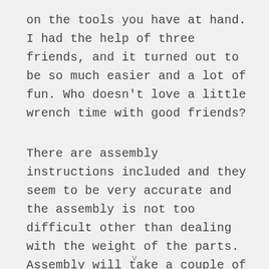on the tools you have at hand. I had the help of three friends, and it turned out to be so much easier and a lot of fun. Who doesn't love a little wrench time with good friends?
There are assembly instructions included and they seem to be very accurate and the assembly is not too difficult other than dealing with the weight of the parts. Assembly will take a couple of hours at the most.
v